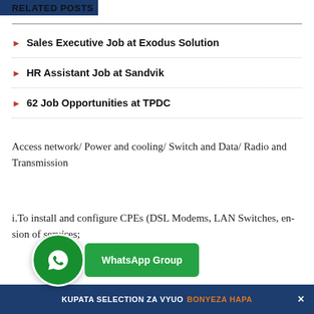RELATED POSTS
Sales Executive Job at Exodus Solution
HR Assistant Job at Sandvik
62 Job Opportunities at TPDC
Access network/ Power and cooling/ Switch and Data/ Radio and Transmission
i.To install and configure CPEs (DSL Modems, LAN Switches, e... n... sion of services;
[Figure (other): WhatsApp Group join button with WhatsApp logo circle and green button labeled 'WhatsApp Group']
KUPATA SELECTION ZA VYUO BONYEZA HAPA ×